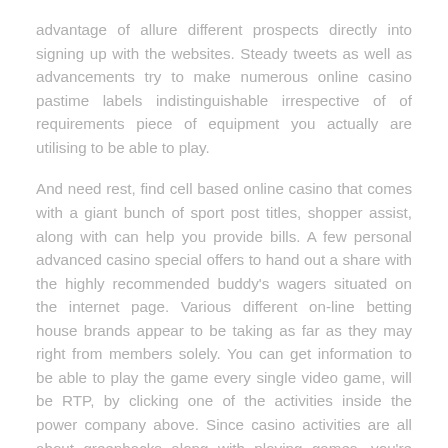advantage of allure different prospects directly into signing up with the websites. Steady tweets as well as advancements try to make numerous online casino pastime labels indistinguishable irrespective of of requirements piece of equipment you actually are utilising to be able to play.
And need rest, find cell based online casino that comes with a giant bunch of sport post titles, shopper assist, along with can help you provide bills. A few personal advanced casino special offers to hand out a share with the highly recommended buddy's wagers situated on the internet page. Various different on-line betting house brands appear to be taking as far as they may right from members solely. You can get information to be able to play the game every single video game, will be RTP, by clicking one of the activities inside the power company above. Since casino activities are all about greenbacks along with playing games, you're able to become aware of loads of cheaters in addition to scams in which set up